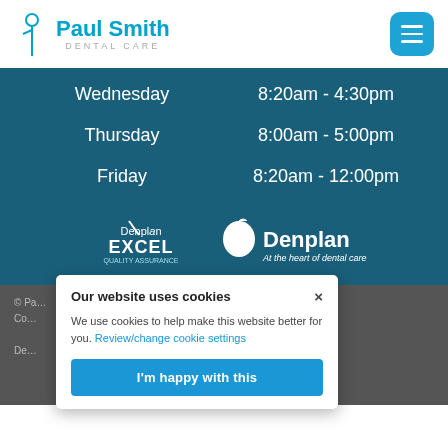Paul Smith Dental Care
| Day | Hours |
| --- | --- |
| Wednesday | 8:20am - 4:30pm |
| Thursday | 8:00am - 5:00pm |
| Friday | 8:20am - 12:00pm |
[Figure (logo): Denplan Excel and Denplan logos in white on dark blue background]
Our website uses cookies
We use cookies to help make this website better for you. Review/change cookie settings
I'm happy with this
© Pa... ted: September 2022 | Co... Transparency Statement | ...licy | De... ist in Macclesfield on ...on | GDC